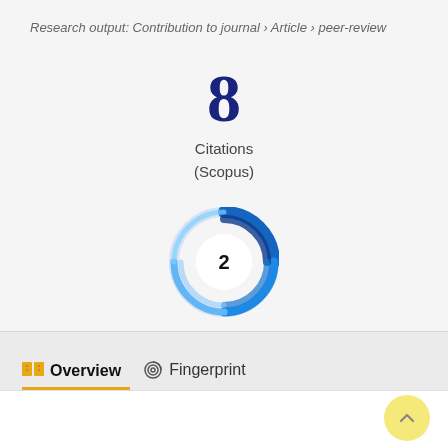Research output: Contribution to journal › Article › peer-review
8 Citations (Scopus)
[Figure (donut-chart): Dimensions donut badge showing number 2 in center, with blue swirling ring design]
Overview
Fingerprint
Abstract